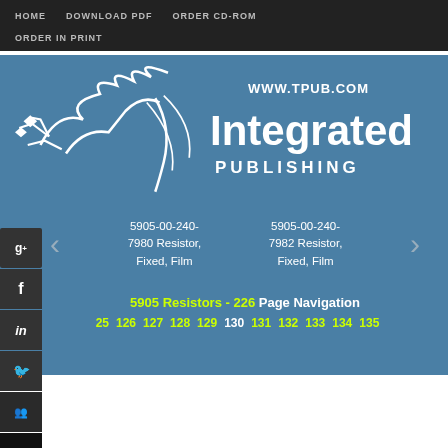HOME   DOWNLOAD PDF   ORDER CD-ROM   ORDER IN PRINT
[Figure (logo): Integrated Publishing logo with stylized bird and text 'WWW.TPUB.COM Integrated PUBLISHING' on blue background]
5905-00-240-7980 Resistor, Fixed, Film
5905-00-240-7982 Resistor, Fixed, Film
5905 Resistors - 226 Page Navigation
25 126 127 128 129 130 131 132 133 134 135